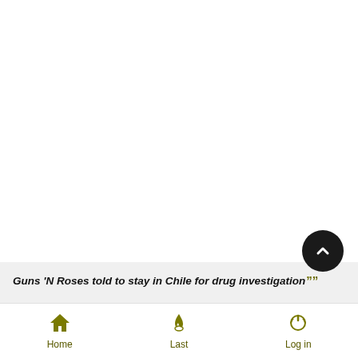[Figure (screenshot): White blank main content area of a mobile web page]
Guns 'N Roses told to stay in Chile for drug investigation””
Home  Last  Log in